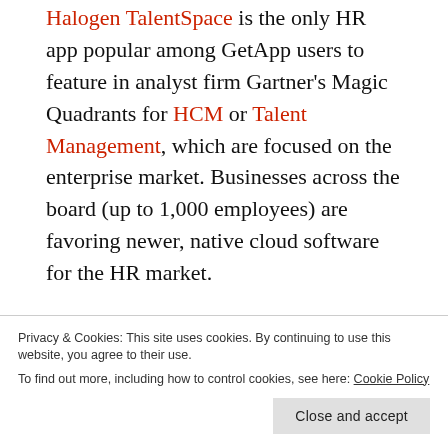Halogen TalentSpace is the only HR app popular among GetApp users to feature in analyst firm Gartner's Magic Quadrants for HCM or Talent Management, which are focused on the enterprise market. Businesses across the board (up to 1,000 employees) are favoring newer, native cloud software for the HR market.

Where we can see a trend start to emerge is in the type of HR apps used by businesses of less than 50 employees, compared to companies of 51-500, and then again with organizations of 501-1000 employees. We'll
Privacy & Cookies: This site uses cookies. By continuing to use this website, you agree to their use.
To find out more, including how to control cookies, see here: Cookie Policy
Close and accept
Startups for Startups